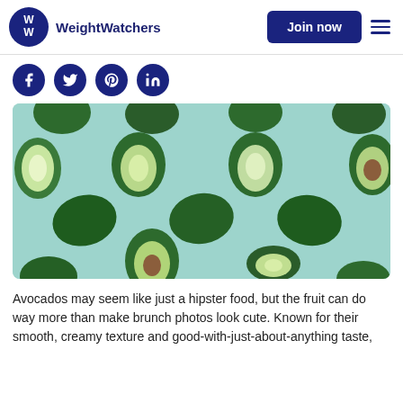WeightWatchers | Join now
[Figure (logo): WeightWatchers WW logo circle with W letters, and wordmark 'WeightWatchers' in dark navy blue]
[Figure (photo): Flat lay photograph of multiple whole and halved avocados on a light teal/mint background, showing green flesh and pits]
Avocados may seem like just a hipster food, but the fruit can do way more than make brunch photos look cute. Known for their smooth, creamy texture and good-with-just-about-anything taste,